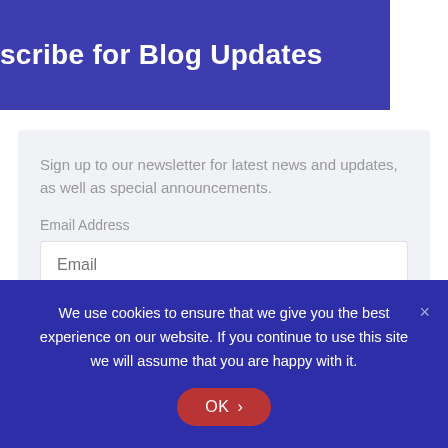scribe for Blog Updates
Sign up to our newsletter for latest news and updates, as well as special announcements.
Email Address
Email
SUBMIT
We use cookies to ensure that we give you the best experience on our website. If you continue to use this site we will assume that you are happy with it.
OK